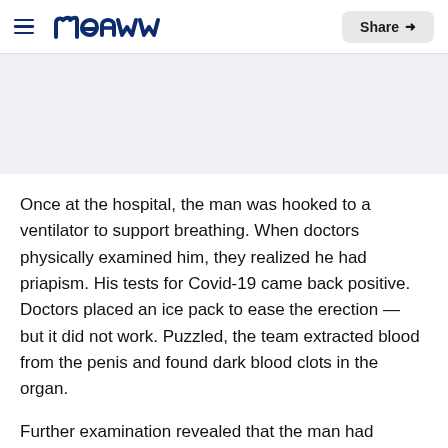meaww  Share
[Figure (other): Gray banner/advertisement placeholder area]
Once at the hospital, the man was hooked to a ventilator to support breathing. When doctors physically examined him, they realized he had priapism. His tests for Covid-19 came back positive. Doctors placed an ice pack to ease the erection — but it did not work. Puzzled, the team extracted blood from the penis and found dark blood clots in the organ.
Further examination revealed that the man had ischemia-related priapism. It happens when blood cannot leave the